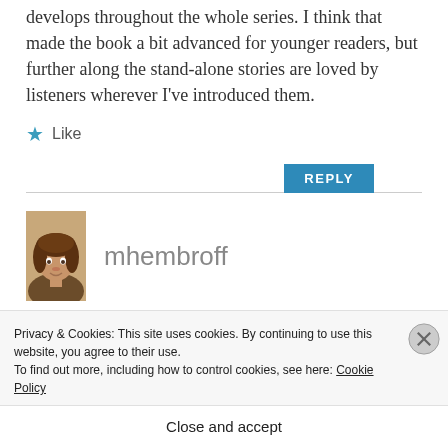develops throughout the whole series. I think that made the book a bit advanced for younger readers, but further along the stand-alone stories are loved by listeners wherever I've introduced them.
★ Like
REPLY
[Figure (photo): Avatar photo of commenter mhembroff showing a person with brown wavy hair]
mhembroff
Privacy & Cookies: This site uses cookies. By continuing to use this website, you agree to their use.
To find out more, including how to control cookies, see here: Cookie Policy
Close and accept